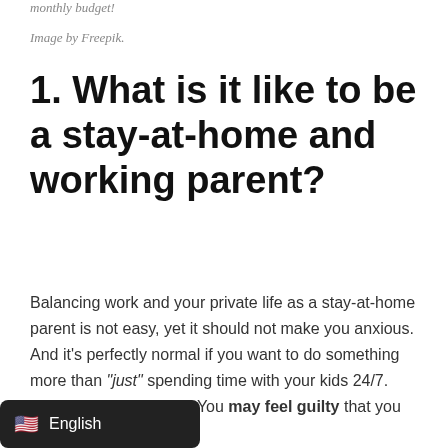monthly budget!
Image by Freepik.
1. What is it like to be a stay-at-home and working parent?
Balancing work and your private life as a stay-at-home parent is not easy, yet it should not make you anxious. And it’s perfectly normal if you want to do something more than “just” spending time with your kids 24/7. There is nothing wrong You may feel guilty that you